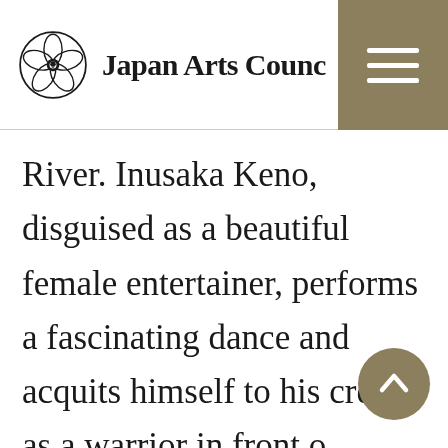Japan Arts Council
River. Inusaka Keno, disguised as a beautiful female entertainer, performs a fascinating dance and acquits himself to his credit as a warrior in front o enemy leader Ōgigayatsu